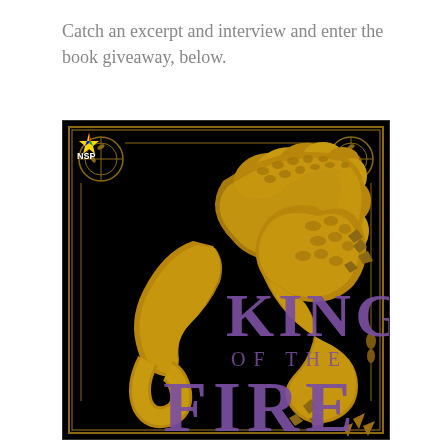Catch an excerpt and interview and enter the book giveaway, below.
[Figure (illustration): Book cover for 'King of the Fire' featuring a golden dragon coiled on a black background with ornate gold border decorations and purple title text. NSP logo in top left corner.]